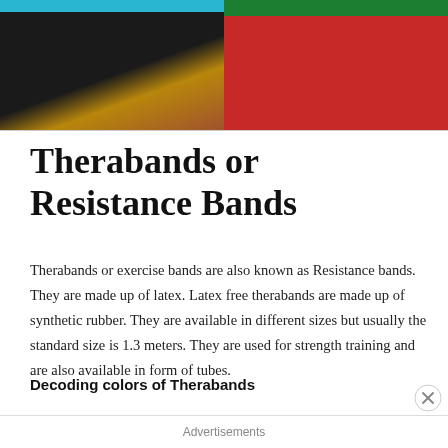[Figure (photo): Two photos side by side: left shows black resistance bands rolled up on a wooden surface with a blue band at top; right shows green and red therabands/resistance bands stacked on a wooden surface.]
Therabands or Resistance Bands
Therabands or exercise bands are also known as Resistance bands. They are made up of latex. Latex free therabands are made up of synthetic rubber. They are available in different sizes but usually the standard size is 1.3 meters. They are used for strength training and are also available in form of tubes.
Decoding colors of Therabands
The different colors of the Therabands are related to their
Advertisements